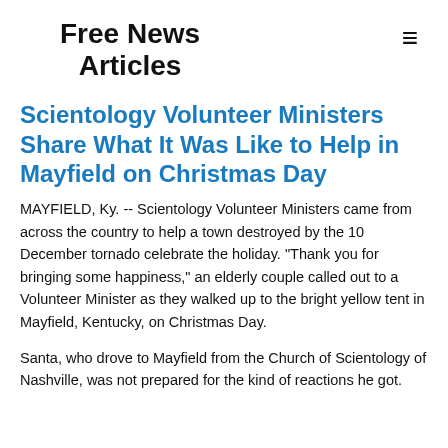Free News Articles
Scientology Volunteer Ministers Share What It Was Like to Help in Mayfield on Christmas Day
MAYFIELD, Ky. -- Scientology Volunteer Ministers came from across the country to help a town destroyed by the 10 December tornado celebrate the holiday. "Thank you for bringing some happiness," an elderly couple called out to a Volunteer Minister as they walked up to the bright yellow tent in Mayfield, Kentucky, on Christmas Day.
Santa, who drove to Mayfield from the Church of Scientology of Nashville, was not prepared for the kind of reactions he got.